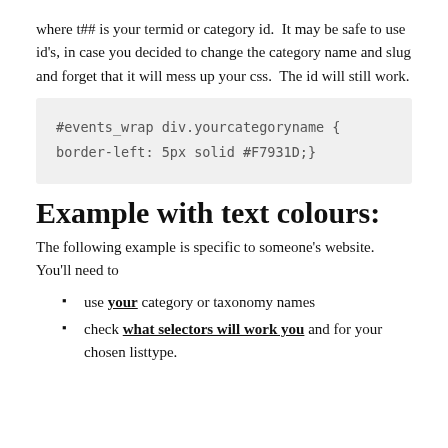where t## is your termid or category id. It may be safe to use id's, in case you decided to change the category name and slug and forget that it will mess up your css. The id will still work.
#events_wrap div.yourcategoryname {
border-left: 5px solid #F7931D;}
Example with text colours:
The following example is specific to someone's website. You'll need to
use your category or taxonomy names
check what selectors will work you and for your chosen listtype.